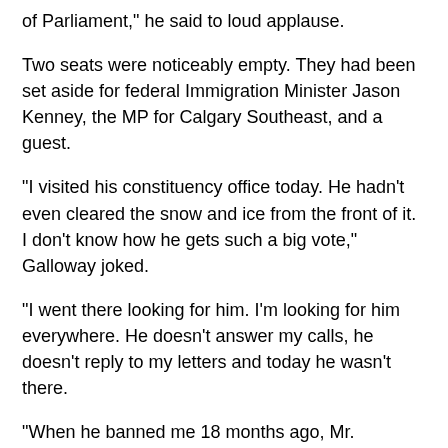of Parliament," he said to loud applause.
Two seats were noticeably empty. They had been set aside for federal Immigration Minister Jason Kenney, the MP for Calgary Southeast, and a guest.
"I visited his constituency office today. He hadn't even cleared the snow and ice from the front of it. I don't know how he gets such a big vote," Galloway joked.
"I went there looking for him. I'm looking for him everywhere. He doesn't answer my calls, he doesn't reply to my letters and today he wasn't there.
"When he banned me 18 months ago, Mr. Kenney's office said `he's not getting in and that is that.' I said it ain't over until the fat lady sings and the fat lady in question is the grand old lady of Canadian justice."